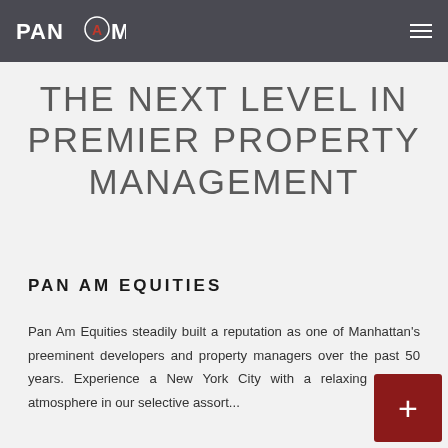PAN AM
THE NEXT LEVEL IN PREMIER PROPERTY MANAGEMENT
PAN AM EQUITIES
Pan Am Equities steadily built a reputation as one of Manhattan's preeminent developers and property managers over the past 50 years. Experience a New York City with a relaxing country atmosphere in our selective assortment of ...